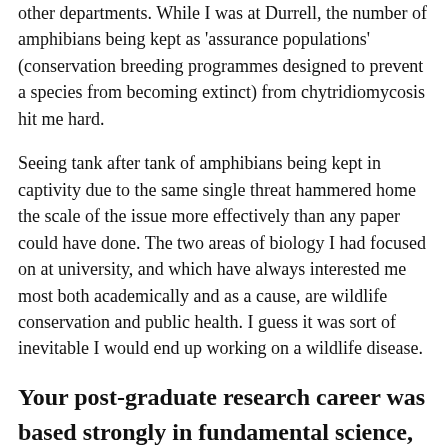other departments. While I was at Durrell, the number of amphibians being kept as 'assurance populations' (conservation breeding programmes designed to prevent a species from becoming extinct) from chytridiomycosis hit me hard.
Seeing tank after tank of amphibians being kept in captivity due to the same single threat hammered home the scale of the issue more effectively than any paper could have done. The two areas of biology I had focused on at university, and which have always interested me most both academically and as a cause, are wildlife conservation and public health. I guess it was sort of inevitable I would end up working on a wildlife disease.
Your post-graduate research career was based strongly in fundamental science, yet now you work for Synchronicity Earth, a conservation